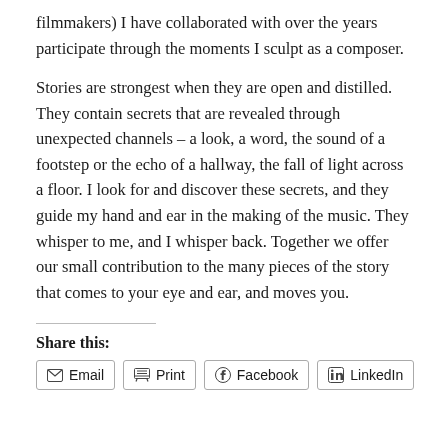filmmakers) I have collaborated with over the years participate through the moments I sculpt as a composer.
Stories are strongest when they are open and distilled. They contain secrets that are revealed through unexpected channels – a look, a word, the sound of a footstep or the echo of a hallway, the fall of light across a floor. I look for and discover these secrets, and they guide my hand and ear in the making of the music. They whisper to me, and I whisper back. Together we offer our small contribution to the many pieces of the story that comes to your eye and ear, and moves you.
Share this: